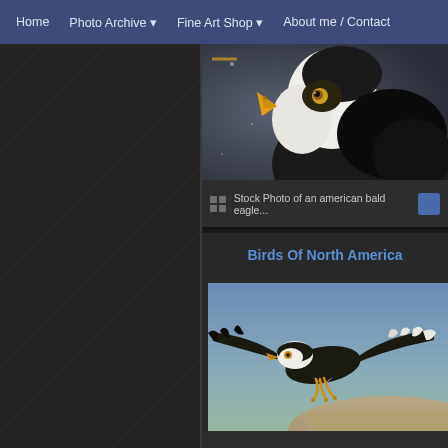Home | Photo Archive | Fine Art Shop | About me / Contact
[Figure (photo): Close-up photo of an American bald eagle head, facing left, with yellow beak and white head feathers, dark body, bokeh background]
Stock Photo of an american bald eagle...
Birds Of North America
[Figure (photo): Bald eagle in flight over water/ground, wings spread wide, viewed from the side, blue sky background]
Stock Photos of Birds of North...